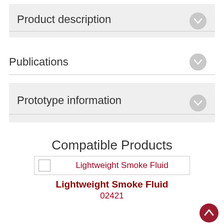Product description
Publications
Prototype information
Compatible Products
Lightweight Smoke Fluid
Lightweight Smoke Fluid
02421